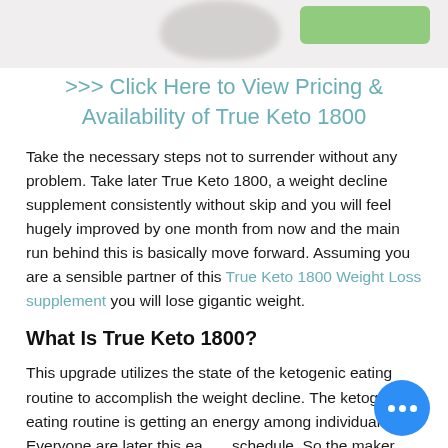[Figure (photo): Blurred top section showing partial product image on left and a green button on the right]
>>> Click Here to View Pricing & Availability of True Keto 1800
Take the necessary steps not to surrender without any problem. Take later True Keto 1800, a weight decline supplement consistently without skip and you will feel hugely improved by one month from now and the main run behind this is basically move forward. Assuming you are a sensible partner of this True Keto 1800 Weight Loss supplement you will lose gigantic weight.
What Is True Keto 1800?
This upgrade utilizes the state of the ketogenic eating routine to accomplish the weight decline. The ketogenic eating routine is getting an energy among individuals. Everyone are later this eating schedule. So the maker has fostered this upgrade with the ultimate objective that it